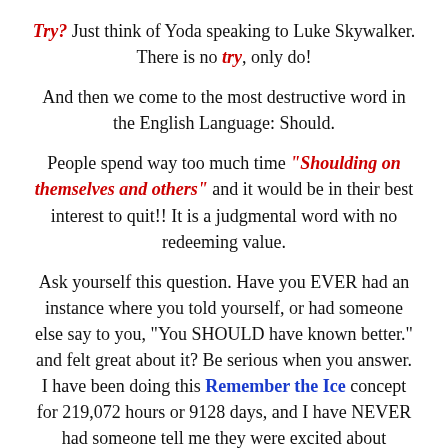Try? Just think of Yoda speaking to Luke Skywalker. There is no try, only do!
And then we come to the most destructive word in the English Language: Should.
People spend way too much time “Shoulding on themselves and others” and it would be in their best interest to quit!! It is a judgmental word with no redeeming value.
Ask yourself this question. Have you EVER had an instance where you told yourself, or had someone else say to you, “You SHOULD have known better.” and felt great about it? Be serious when you answer. I have been doing this Remember the Ice concept for 219,072 hours or 9128 days, and I have NEVER had someone tell me they were excited about